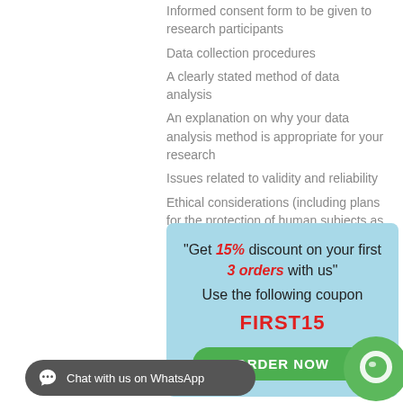Informed consent form to be given to research participants
Data collection procedures
A clearly stated method of data analysis
An explanation on why your data analysis method is appropriate for your research
Issues related to validity and reliability
Ethical considerations (including plans for the protection of human subjects as appropriate)
"Get 15% discount on your first 3 orders with us" Use the following coupon FIRST15 ORDER NOW
Chat with us on WhatsApp